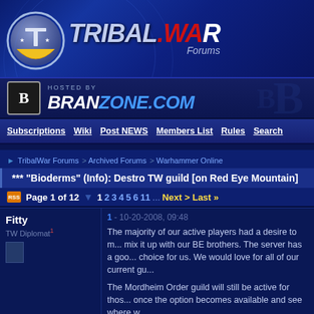[Figure (logo): TribalWar Forums logo banner with circular TW icon and stylized text]
[Figure (logo): Hosted By Branzone.com banner]
Subscriptions | Wiki | Post NEWS | Members List | Rules | Search
TribalWar Forums > Archived Forums > Warhammer Online
*** "Bioderms" (Info): Destro TW guild [on Red Eye Mountain]
Page 1 of 12  1 2 3 4 5 6 11 ...  Next > Last »
Fitty
TW Diplomat
1 - 10-20-2008, 09:48
The majority of our active players had a desire to mix it up with our BE brothers. The server has a good choice for us. We would love for all of our current gu...

The Mordheim Order guild will still be active for those once the option becomes available and see where w...

Join us on the NOVA vent at:
voice-va1.branzone.com port:3802